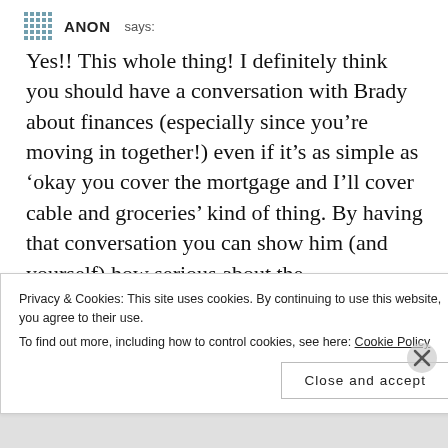ANON says:
Yes!! This whole thing! I definitely think you should have a conversation with Brady about finances (especially since you're moving in together!) even if it's as simple as 'okay you cover the mortgage and I'll cover cable and groceries' kind of thing. By having that conversation you can show him (and yourself) how serious about the
Privacy & Cookies: This site uses cookies. By continuing to use this website, you agree to their use.
To find out more, including how to control cookies, see here: Cookie Policy
Close and accept